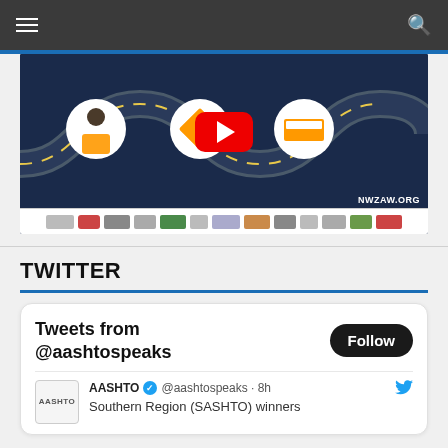Navigation bar with hamburger menu and search icon
[Figure (screenshot): NWZAW.ORG road safety video thumbnail with YouTube play button, showing road icons and safety symbols on dark blue background, with sponsor logos strip at bottom]
TWITTER
Tweets from @aashtospeaks
AASHTO @aashtospeaks · 8h Southern Region (SASHTO) winners
Follow